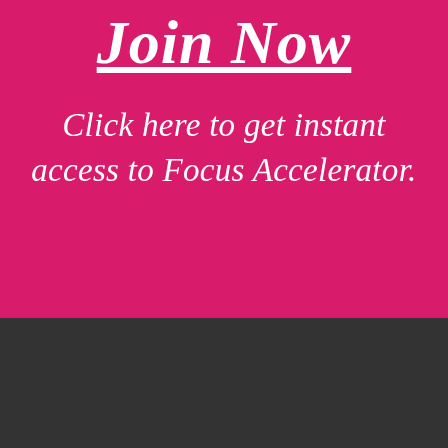Join Now
Click here to get instant access to Focus Accelerator.